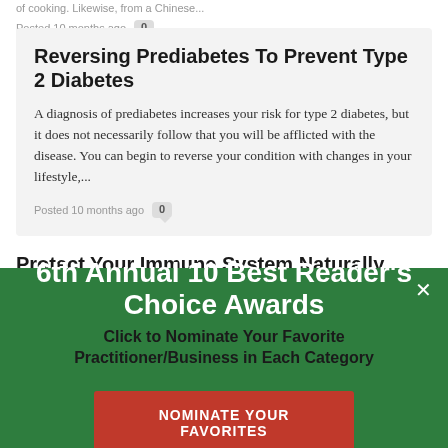of cooking. Likewise, from a Chinese...
Posted 10 months ago  0
Reversing Prediabetes To Prevent Type 2 Diabetes
A diagnosis of prediabetes increases your risk for type 2 diabetes, but it does not necessarily follow that you will be afflicted with the disease. You can begin to reverse your condition with changes in your lifestyle,...
Posted 10 months ago  0
Protect Your Immune System Naturally
6th Annual 10 Best Reader's Choice Awards
Click to Nominate Your Favorite Practitioner/Business in Each Category
NOMINATE YOUR FAVORITES